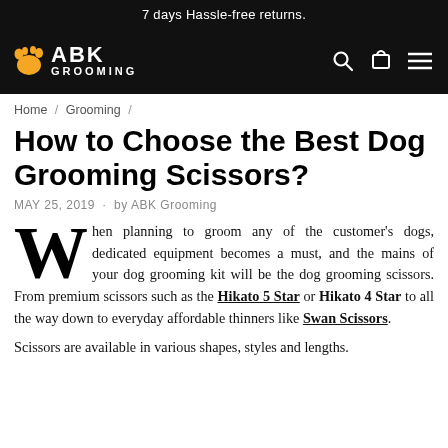7 days Hassle-free returns.
[Figure (logo): ABK Grooming logo with dog icon in orange/yellow on black navigation bar, with search, cart, and menu icons on the right]
Home / Grooming /
How to Choose the Best Dog Grooming Scissors?
MAY 25, 2019  ·  by ABK Grooming
When planning to groom any of the customer's dogs, dedicated equipment becomes a must, and the mains of your dog grooming kit will be the dog grooming scissors. From premium scissors such as the Hikato 5 Star or Hikato 4 Star to all the way down to everyday affordable thinners like Swan Scissors.
Scissors are available in various shapes, styles and lengths.